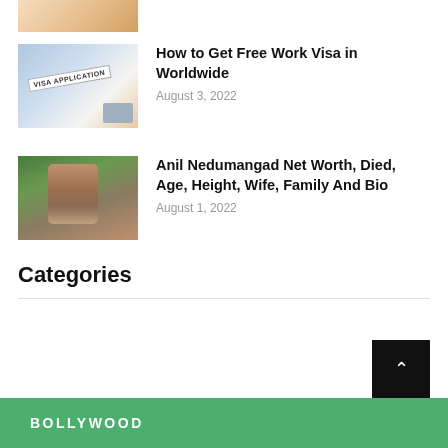[Figure (photo): Partial thumbnail image visible at top of page, appears to show craft/school supplies on a desk]
[Figure (photo): Visa application form with glasses resting on it, hand holding paper]
How to Get Free Work Visa in Worldwide
August 3, 2022
[Figure (photo): Man in plaid shirt standing outdoors holding something white]
Anil Nedumangad Net Worth, Died, Age, Height, Wife, Family And Bio
August 1, 2022
Categories
BOLLYWOOD